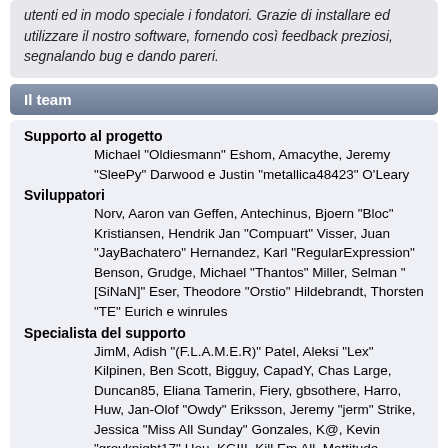utenti ed in modo speciale i fondatori. Grazie di installare ed utilizzare il nostro software, fornendo così feedback preziosi, segnalando bug e dando pareri.
Il team
Supporto al progetto
Michael "Oldiesmann" Eshom, Amacythe, Jeremy "SleePy" Darwood e Justin "metallica48423" O'Leary
Sviluppatori
Norv, Aaron van Geffen, Antechinus, Bjoern "Bloc" Kristiansen, Hendrik Jan "Compuart" Visser, Juan "JayBachatero" Hernandez, Karl "RegularExpression" Benson, Grudge, Michael "Thantos" Miller, Selman "[SiNaN]" Eser, Theodore "Orstio" Hildebrandt, Thorsten "TE" Eurich e winrules
Specialista del supporto
JimM, Adish "(F.L.A.M.E.R)" Patel, Aleksi "Lex" Kilpinen, Ben Scott, Bigguy, CapadY, Chas Large, Duncan85, Eliana Tamerin, Fiery, gbsothere, Harro, Huw, Jan-Olof "Owdy" Eriksson, Jeremy "jerm" Strike, Jessica "Miss All Sunday" Gonzales, K@, Kevin "greyknight17" Hou, KGIII, Kill Em All, Mattitude, Mashby, Mick G., Michele "Illori" Davis, MrPhil, Nick "Fizzy" Dyer, Nick "Ha²", Paul_Pauline, Piro "Sarge" Dhima, Rumbaar, Pitti, RedOne, S-Ace, Wade "snσω" Poulsen e xenovanis